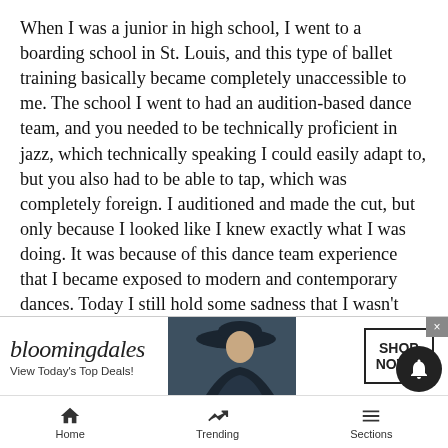When I was a junior in high school, I went to a boarding school in St. Louis, and this type of ballet training basically became completely unaccessible to me. The school I went to had an audition-based dance team, and you needed to be technically proficient in jazz, which technically speaking I could easily adapt to, but you also had to be able to tap, which was completely foreign. I auditioned and made the cut, but only because I looked like I knew exactly what I was doing. It was because of this dance team experience that I became exposed to modern and contemporary dances. Today I still hold some sadness that I wasn't able to continue my training in ballet, knowing that I lost some of my technique then. But I also see this two-y[ear...] finding[...]
[Figure (screenshot): Bloomingdale's advertisement banner with logo, 'View Today's Top Deals!' tagline, image of woman in hat, and 'SHOP NOW >' button]
Home   Trending   Sections